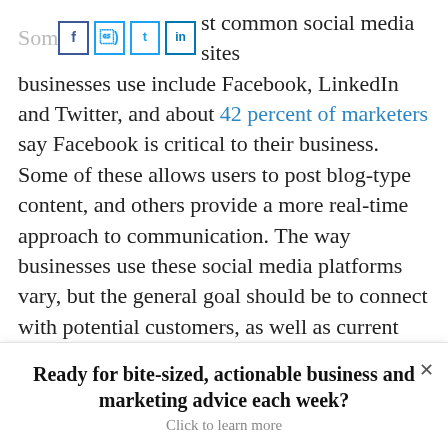Some of the most common social media sites businesses use include Facebook, LinkedIn and Twitter, and about 42 percent of marketers say Facebook is critical to their business. Some of these allows users to post blog-type content, and others provide a more real-time approach to communication. The way businesses use these social media platforms vary, but the general goal should be to connect with potential customers, as well as current customers.
The best way to reach people via social media
Ready for bite-sized, actionable business and marketing advice each week? Click to learn more